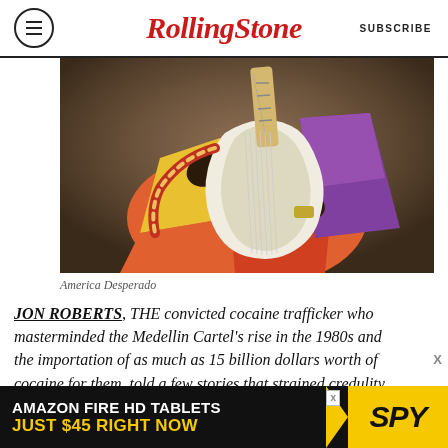RollingStone  SUBSCRIBE
[Figure (photo): A guitarist wearing a colorful patterned shirt and purple jacket, playing a white electric guitar with a decorative strap, photographed from the torso down against a warm dark background.]
America Desperado
JON ROBERTS, THE convicted cocaine trafficker who masterminded the Medellin Cartel's rise in the 1980s and the importation of as much as 15 billion dollars worth of cocaine for them, told a few stories that strained credulity when we first sat down for the interviews that would form the
[Figure (other): Amazon Fire HD Tablets advertisement banner: 'AMAZON FIRE HD TABLETS JUST $45 RIGHT NOW' with SPY logo on yellow background.]